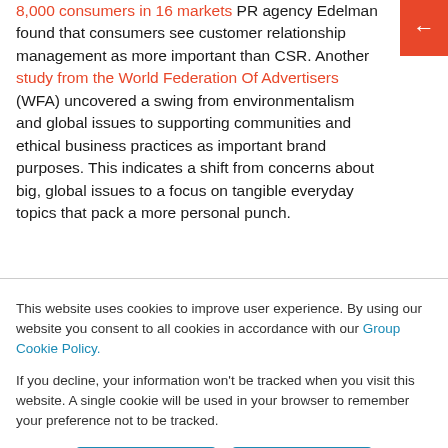8,000 consumers in 16 markets PR agency Edelman found that consumers see customer relationship management as more important than CSR. Another study from the World Federation Of Advertisers (WFA) uncovered a swing from environmentalism and global issues to supporting communities and ethical business practices as important brand purposes. This indicates a shift from concerns about big, global issues to a focus on tangible everyday topics that pack a more personal punch.
This website uses cookies to improve user experience. By using our website you consent to all cookies in accordance with our Group Cookie Policy.
If you decline, your information won't be tracked when you visit this website. A single cookie will be used in your browser to remember your preference not to be tracked.